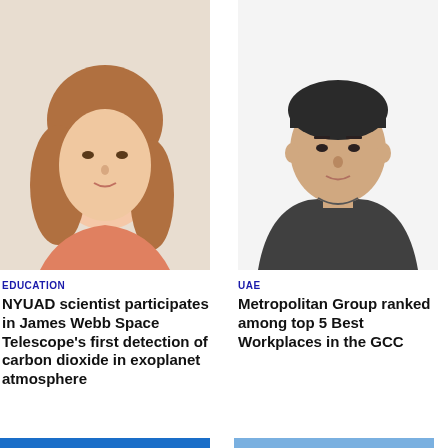[Figure (photo): Headshot of a woman with long brown hair, light background]
[Figure (photo): Headshot of a man in a dark grey shirt, white background]
EDUCATION
NYUAD scientist participates in James Webb Space Telescope's first detection of carbon dioxide in exoplanet atmosphere
UAE
Metropolitan Group ranked among top 5 Best Workplaces in the GCC